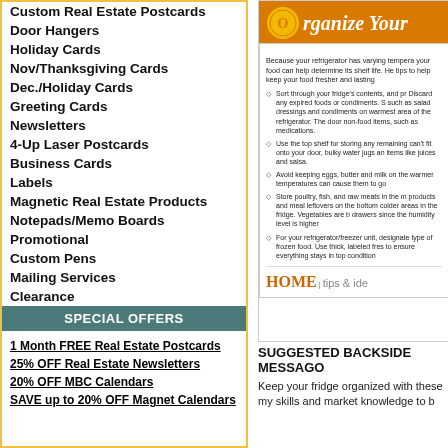Custom Real Estate Postcards
Door Hangers
Holiday Cards
Nov/Thanksgiving Cards
Dec./Holiday Cards
Greeting Cards
Newsletters
4-Up Laser Postcards
Business Cards
Labels
Magnetic Real Estate Products
Notepads/Memo Boards
Promotional
Custom Pens
Mailing Services
Clearance
SPECIAL OFFERS
1 Month FREE Real Estate Postcards
25% OFF Real Estate Newsletters
20% OFF MBC Calendars
SAVE up to 20% OFF Magnet Calendars
[Figure (infographic): Organize Your Refrigerator infographic with orange header, bullet tips about fridge organization including shelf storage, egg/butter/milk placement, poultry/fish storage, and freezer organization. HOME tips & ideas branding at bottom.]
SUGGESTED BACKSIDE MESSAGO
Keep your fridge organized with these tips... my skills and market knowledge to b...